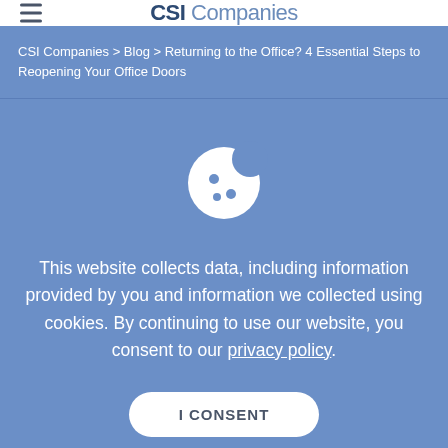CSI Companies
CSI Companies > Blog > Returning to the Office? 4 Essential Steps to Reopening Your Office Doors
[Figure (illustration): Cookie icon — a white cookie with bite taken out and three dots, on blue background]
This website collects data, including information provided by you and information we collected using cookies. By continuing to use our website, you consent to our privacy policy.
I CONSENT